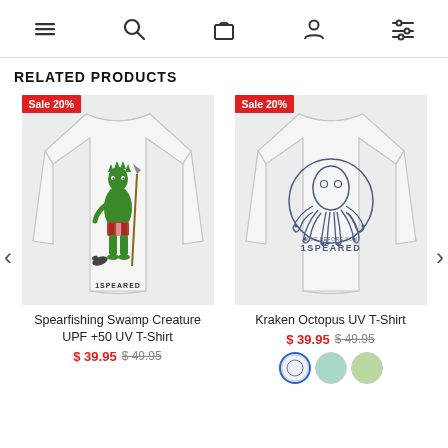[navigation bar with menu, search, cart, account, filter icons]
RELATED PRODUCTS
[Figure (photo): Back view of white long-sleeve UPF t-shirt with a green swamp creature / spearfishing creature graphic and '1SPEARED' text on the back, with 'Sale 20%' badge.]
Spearfishing Swamp Creature UPF +50 UV T-Shirt
$ 39.95  $ 49.95
[Figure (photo): Back view of white long-sleeve UV t-shirt with a circular kraken/octopus graphic and '1SPEARED' text on the back, with 'Sale 20%' badge.]
Kraken Octopus UV T-Shirt
$ 39.95  $ 49.95